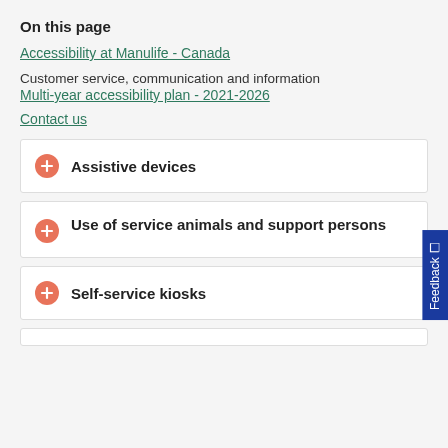On this page
Accessibility at Manulife - Canada
Customer service, communication and information
Multi-year accessibility plan - 2021-2026
Contact us
+ Assistive devices
+ Use of service animals and support persons
+ Self-service kiosks